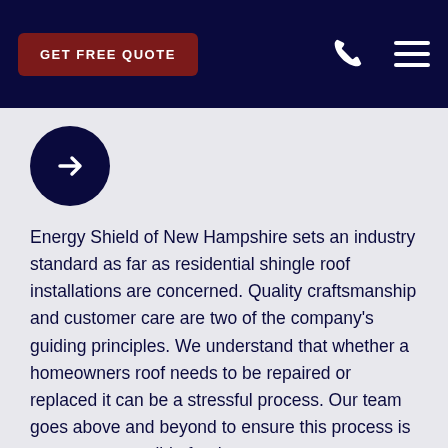GET FREE QUOTE
[Figure (illustration): Dark navy circular button with white right-arrow icon]
Energy Shield of New Hampshire sets an industry standard as far as residential shingle roof installations are concerned. Quality craftsmanship and customer care are two of the company's guiding principles. We understand that whether a homeowners roof needs to be repaired or replaced it can be a stressful process. Our team goes above and beyond to ensure this process is as easy as possible for the customers we serve.
Learn More